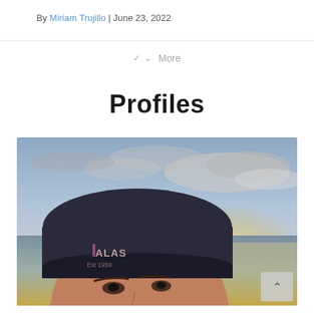By Miriam Trujillo | June 23, 2022
More
Profiles
[Figure (photo): A woman wearing a dark Alaska baseball cap (Est 1959) with her face in close-up, in front of an ocean/water background with dramatic cloudy sky and sunset light reflecting off the water.]